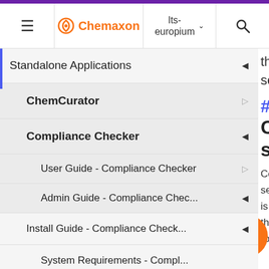Chemaxon | lts-europium
Standalone Applications
ChemCurator
Compliance Checker
User Guide - Compliance Checker
Admin Guide - Compliance Chec...
Install Guide - Compliance Check...
System Requirements - Compl...
Installing Compliance Checker
Old Linux Installer
the servic
# Con server
Config server is the route hierarc